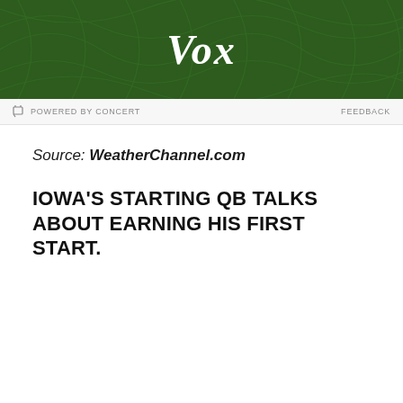[Figure (logo): Vox logo on dark green textured background banner]
POWERED BY CONCERT | FEEDBACK
Source: WeatherChannel.com
IOWA'S STARTING QB TALKS ABOUT EARNING HIS FIRST START.